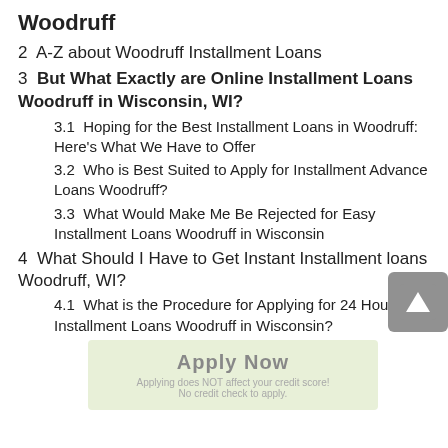Woodruff
2  A-Z about Woodruff Installment Loans
3  But What Exactly are Online Installment Loans Woodruff in Wisconsin, WI?
3.1  Hoping for the Best Installment Loans in Woodruff: Here’s What We Have to Offer
3.2  Who is Best Suited to Apply for Installment Advance Loans Woodruff?
3.3  What Would Make Me Be Rejected for Easy Installment Loans Woodruff in Wisconsin
4  What Should I Have to Get Instant Installment loans Woodruff, WI?
4.1  What is the Procedure for Applying for 24 Hour Installment Loans Woodruff in Wisconsin?
[Figure (other): Apply Now button overlay with light green background, showing 'Apply Now' text, 'Applying does NOT affect your credit score!' and 'No credit check to apply.']